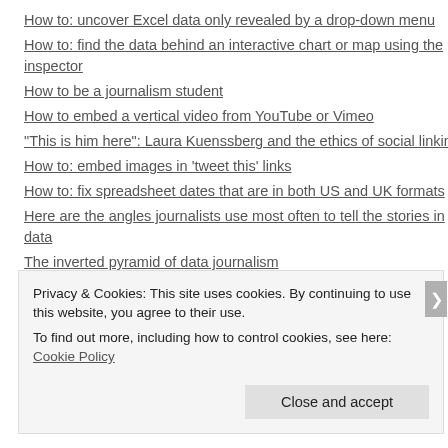How to: uncover Excel data only revealed by a drop-down menu
How to: find the data behind an interactive chart or map using the inspector
How to be a journalism student
How to embed a vertical video from YouTube or Vimeo
"This is him here": Laura Kuenssberg and the ethics of social linking
How to: embed images in 'tweet this' links
How to: fix spreadsheet dates that are in both US and UK formats
Here are the angles journalists use most often to tell the stories in data
The inverted pyramid of data journalism
Privacy & Cookies: This site uses cookies. By continuing to use this website, you agree to their use.
To find out more, including how to control cookies, see here: Cookie Policy
Close and accept